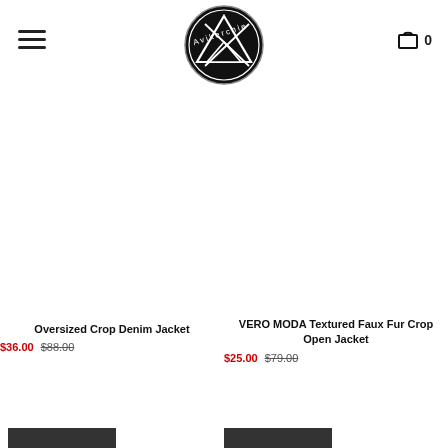[Figure (logo): Avikerchie brand logo — black circle with white geometric A/triangle design and brand name text]
Oversized Crop Denim Jacket
$36.00  $88.00
VERO MODA Textured Faux Fur Crop Open Jacket
$25.00  $79.00